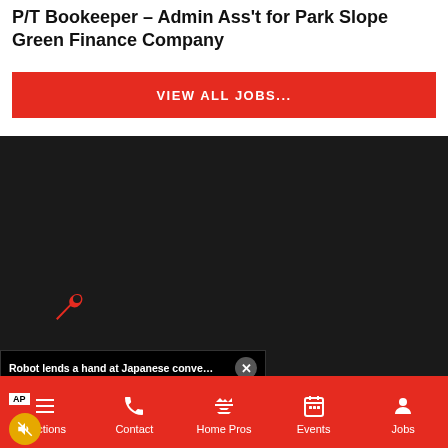P/T Bookeeper – Admin Ass't for Park Slope Green Finance Company
VIEW ALL JOBS...
[Figure (screenshot): Dark video player area with wrench icon and embedded video popup showing 'Robot lends a hand at Japanese conveni...' with close button, AP badge, mute button, and video frame showing juice bottles on a shelf with text overlay 'ROBOT LENDS A HAND AT JAPANESE']
Sections  Contact  Home Pros  Events  Jobs